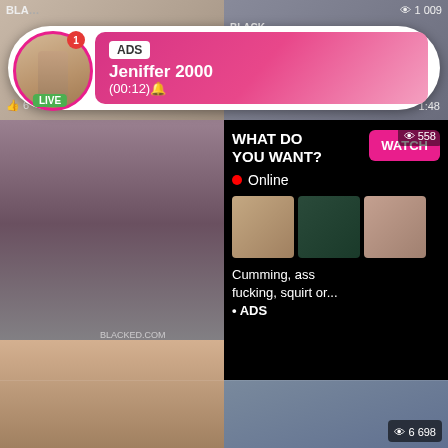[Figure (screenshot): Adult video website screenshot showing thumbnail grid with overlay advertisements. Top ad shows profile named 'Jeniffer 2000' with LIVE badge and ADS tag, timer (00:12). Middle popup ad shows 'WHAT DO YOU WANT?' with WATCH button, Online status, three thumbnails, text 'Cumming, ass fucking, squirt or...' and ADS label. Video thumbnails include 'BLACKED Nikki Benz covets...' with 71% likes and 12:03 duration, 'Pretty and wet - Adria Rae firs...' with 84% likes and 7:00 duration. Bottom thumbnails with view counts 1 009, 558, 6 698.]